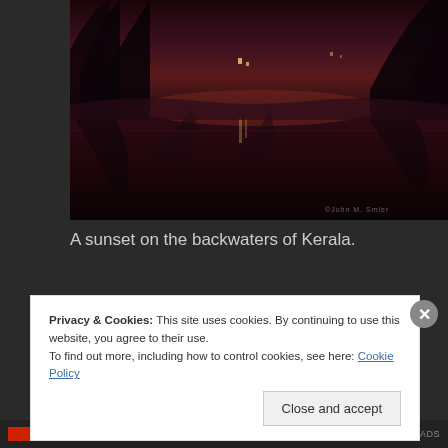[Figure (photo): A dark, moody photograph of a sunset on backwaters, showing silhouettes of palm trees reflected in still water, with deep reds and dark tones. Watermark 'John M. Smler' or similar in bottom-right corner.]
A sunset on the backwaters of Kerala.
Privacy & Cookies: This site uses cookies. By continuing to use this website, you agree to their use.
To find out more, including how to control cookies, see here: Cookie Policy